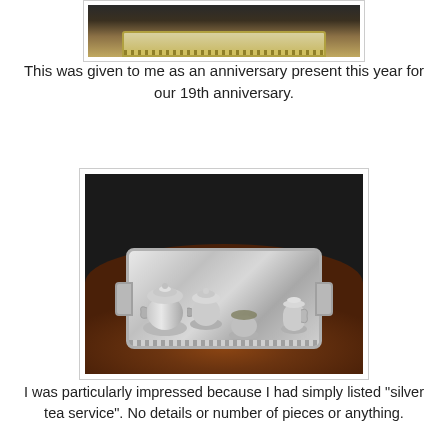[Figure (photo): Top portion of a silver tea service tray on a wooden surface, partially cropped at top of page]
This was given to me as an anniversary present this year for our 19th anniversary.
[Figure (photo): A silver tea service set consisting of a large teapot, small teapot, sugar bowl, and creamer arranged on a rectangular silver tray with decorative beaded border and handles, placed on a round wooden table against a dark background]
I was particularly impressed because I had simply listed "silver tea service". No details or number of pieces or anything.